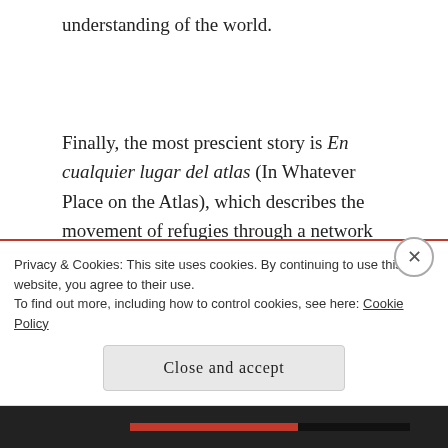understanding of the world.
Finally, the most prescient story is En cualquier lugar del atlas (In Whatever Place on the Atlas), which describes the movement of refugies through a network of smugglers based in cemetaries. The narrator descibes a writer friend who meets a Polish woman Klara who is in Madrid illegally. They fall in
Privacy & Cookies: This site uses cookies. By continuing to use this website, you agree to their use.
To find out more, including how to control cookies, see here: Cookie Policy
Close and accept